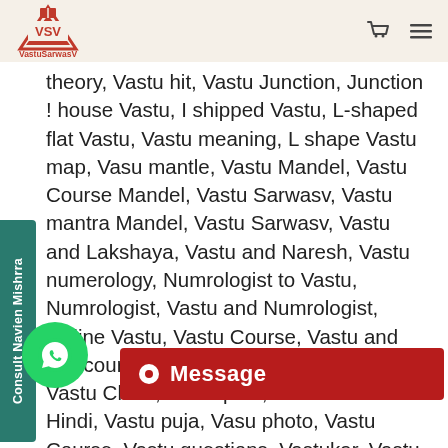VastuSarwasV
theory, Vastu hit, Vastu Junction, Junction ! house Vastu, I shipped Vastu, L-shaped flat Vastu, Vastu meaning, L shape Vastu map, Vasu mantle, Vastu Mandel, Vastu Course Mandel, Vastu Sarwasv, Vastu mantra Mandel, Vastu Sarwasv, Vastu and Lakshaya, Vastu and Naresh, Vastu numerology, Numrologist to Vastu, Numrologist, Vastu and Numrologist, Online Vastu, Vastu Course, Vastu and line course, Vastu Guruji, Vasu pyramid, Vastu Client, Vastu plan, Vastu Course in Hindi, Vastu puja, Vasu photo, Vastu Course, Vastu questions, Vastukar, Vastu questions and answers, Vastu question answer in Indy, Vastu rul southeast toilet, Vastu rul all eight N, East Vastu, Satish Vastushastri,